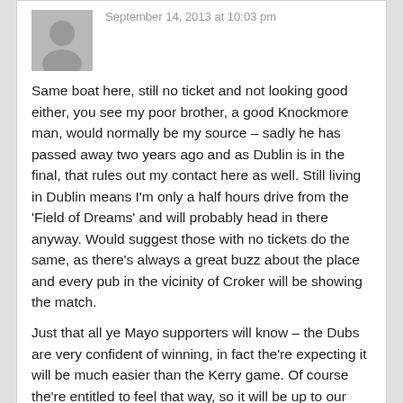September 14, 2013 at 10:03 pm
Same boat here, still no ticket and not looking good either, you see my poor brother, a good Knockmore man, would normally be my source – sadly he has passed away two years ago and as Dublin is in the final, that rules out my contact here as well. Still living in Dublin means I'm only a half hours drive from the 'Field of Dreams' and will probably head in there anyway. Would suggest those with no tickets do the same, as there's always a great buzz about the place and every pub in the vicinity of Croker will be showing the match.
Just that all ye Mayo supporters will know – the Dubs are very confident of winning, in fact the're expecting it will be much easier than the Kerry game. Of course the're entitled to feel that way, so it will be up to our lads to steel their thunder….
Richard says:
September 14, 2013 at 10:05 pm